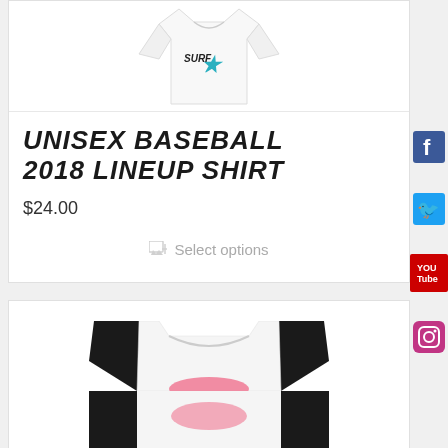[Figure (photo): White t-shirt with teal/dark graphic on front, product photo cropped at top]
UNISEX BASEBALL 2018 LINEUP SHIRT
$24.00
Select options
[Figure (photo): Raglan baseball shirt with black sleeves and white body with pink graphic, product photo]